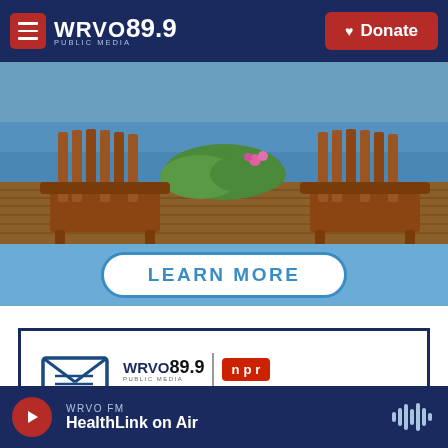WRVO 89.9 PUBLIC MEDIA — Donate
[Figure (photo): Two wooden Adirondack chairs on a dock beside a lake, with greenery and pink flowers in the background]
[Figure (infographic): Blue banner with LEARN MORE button in white with blue border]
[Figure (infographic): Newsletter signup ad: envelope icon with @ symbol, WRVO 89.9 Public Media logo, NPR logo, text: Your weekly news update]
WRVO FM — HealthLink on Air